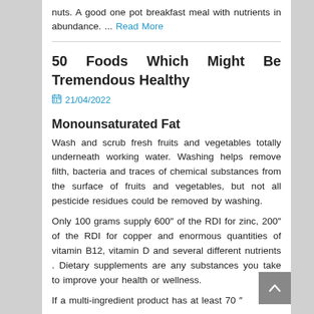nuts. A good one pot breakfast meal with nutrients in abundance. ... Read More
50 Foods Which Might Be Tremendous Healthy
21/04/2022
Monounsaturated Fat
Wash and scrub fresh fruits and vegetables totally underneath working water. Washing helps remove filth, bacteria and traces of chemical substances from the surface of fruits and vegetables, but not all pesticide residues could be removed by washing.
Only 100 grams supply 600″ of the RDI for zinc, 200″ of the RDI for copper and enormous quantities of vitamin B12, vitamin D and several different nutrients . Dietary supplements are any substances you take to improve your health or wellness.
If a multi-ingredient product has at least 70 "